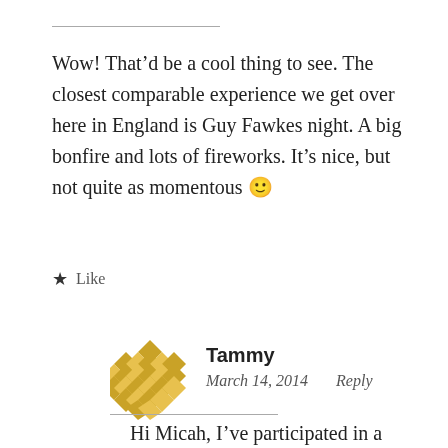Wow! That'd be a cool thing to see. The closest comparable experience we get over here in England is Guy Fawkes night. A big bonfire and lots of fireworks. It's nice, but not quite as momentous 🙂
★ Like
Tammy
March 14, 2014  Reply
Hi Micah, I've participated in a couple Guy Fawkes nights. To someone who didn't grow up in your culture, it is quite the site to see!!!!